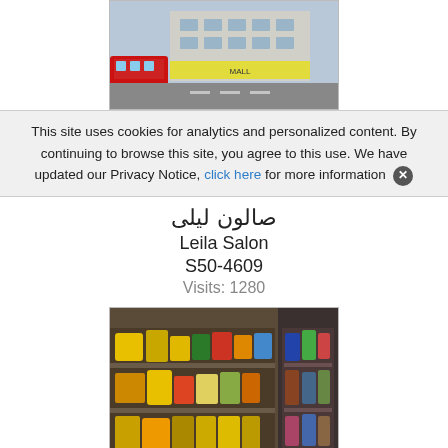[Figure (photo): Street-level photo of a shopping mall/store exterior with a red bus visible on the left and signage reading 'MALL']
This site uses cookies for analytics and personalized content. By continuing to browse this site, you agree to this use. We have updated our Privacy Notice, click here for more information ✕
صالون ليلى
Leila Salon
S50-4609
Visits: 1280
[Figure (photo): Interior of a shop with shelves stocked with packaged food items, snacks, and goods in yellow, red, and colorful packaging]
بكبن فشرز
Bigben Fisheries